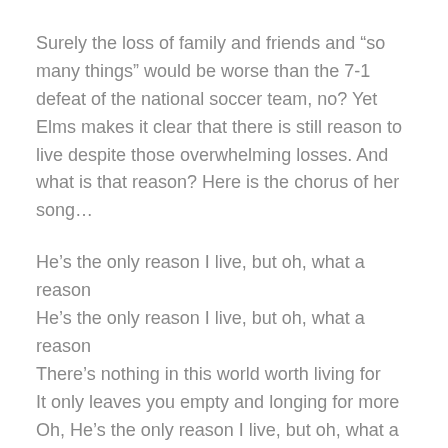Surely the loss of family and friends and “so many things” would be worse than the 7-1 defeat of the national soccer team, no? Yet Elms makes it clear that there is still reason to live despite those overwhelming losses. And what is that reason? Here is the chorus of her song…
He’s the only reason I live, but oh, what a reason
He’s the only reason I live, but oh, what a reason
There’s nothing in this world worth living for
It only leaves you empty and longing for more
Oh, He’s the only reason I live, but oh, what a reason
The second verse of the song goes like this…